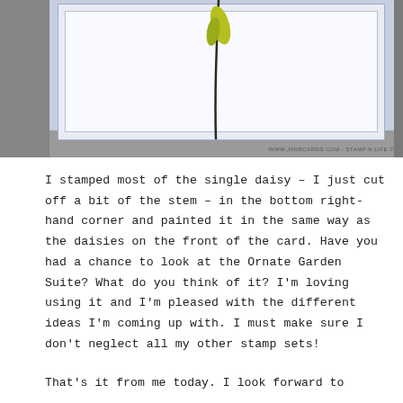[Figure (photo): Photograph of a handmade greeting card featuring a painted daisy stem in yellow-green, mounted on light blue/purple card stock, displayed on a grey surface. Watermark reads WWW.JANBCARDS.COM - STAMP N LIFE ©]
I stamped most of the single daisy – I just cut off a bit of the stem – in the bottom right-hand corner and painted it in the same way as the daisies on the front of the card. Have you had a chance to look at the Ornate Garden Suite? What do you think of it? I'm loving using it and I'm pleased with the different ideas I'm coming up with. I must make sure I don't neglect all my other stamp sets!
That's it from me today. I look forward to